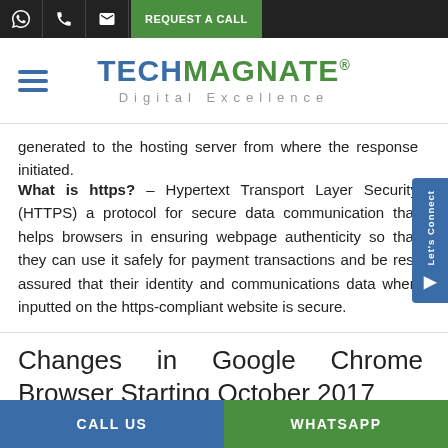REQUEST A CALL | TECHMAGNATE® Digital Excellence
generated to the hosting server from where the response initiated.
What is https? – Hypertext Transport Layer Security (HTTPS) a protocol for secure data communication that helps browsers in ensuring webpage authenticity so that they can use it safely for payment transactions and be rest assured that their identity and communications data when inputted on the https-compliant website is secure.
Changes in Google Chrome Browser Starting October 2017
CALL US | WHATSAPP